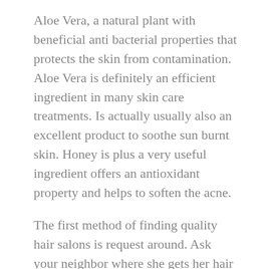Aloe Vera, a natural plant with beneficial anti bacterial properties that protects the skin from contamination. Aloe Vera is definitely an efficient ingredient in many skin care treatments. Is actually usually also an excellent product to soothe sun burnt skin. Honey is plus a very useful ingredient offers an antioxidant property and helps to soften the acne.
The first method of finding quality hair salons is request around. Ask your neighbor where she gets her hair done. If possible, the with a design similar to yours; to be already with regards to your style and length of time.
So, a few women are crazy about clothes yet others can't have enough handbags, several those possess the beauty care fixation. They require beauty products such as lipsticks, lip gloss, nail polishers, eye liners etc. As a question of fact, most of the items as considered